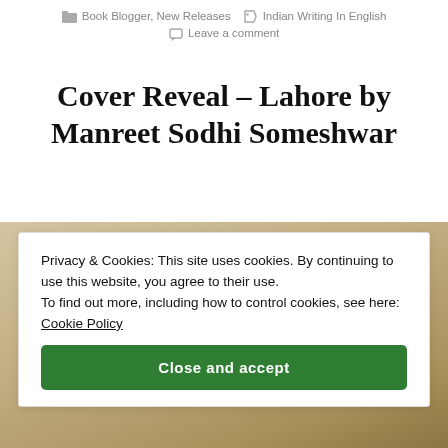Book Blogger, New Releases  Indian Writing In English
Leave a comment
Cover Reveal – Lahore by Manreet Sodhi Someshwar
[Figure (photo): Book cover image partially visible behind cookie consent overlay]
Privacy & Cookies: This site uses cookies. By continuing to use this website, you agree to their use.
To find out more, including how to control cookies, see here: Cookie Policy
Close and accept